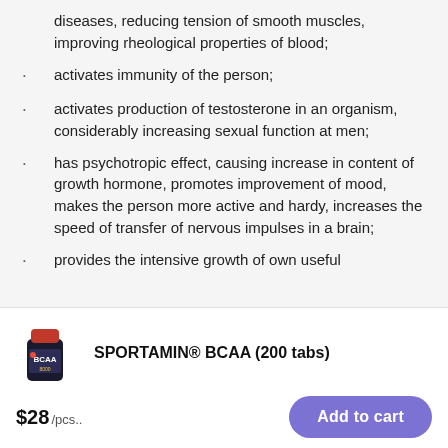diseases, reducing tension of smooth muscles, improving rheological properties of blood;
activates immunity of the person;
activates production of testosterone in an organism, considerably increasing sexual function at men;
has psychotropic effect, causing increase in content of growth hormone, promotes improvement of mood, makes the person more active and hardy, increases the speed of transfer of nervous impulses in a brain;
provides the intensive growth of own useful
[Figure (photo): BCAA supplement bottle with red cap and black label showing BCAA 8000]
SPORTAMIN® BCAA (200 tabs)
$28 /pcs..
Add to cart